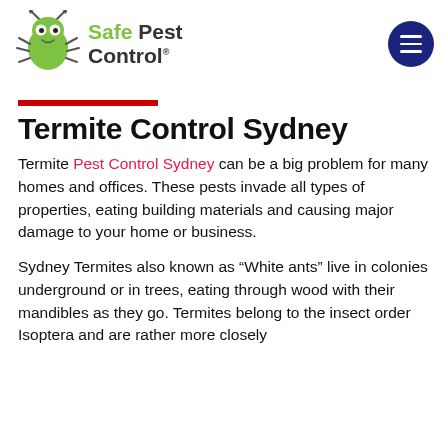[Figure (logo): Safe Pest Control logo: green cartoon bug/ant character on left, with 'Safe' in green and 'Pest Control' in dark text on right]
Termite Control Sydney
Termite Pest Control Sydney can be a big problem for many homes and offices. These pests invade all types of properties, eating building materials and causing major damage to your home or business.
Sydney Termites also known as “White ants” live in colonies underground or in trees, eating through wood with their mandibles as they go. Termites belong to the insect order Isoptera and are rather more closely related to cockroaches than to ants. They do...